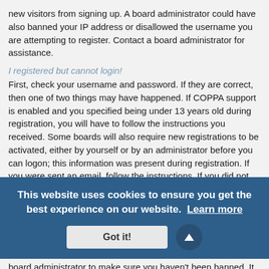new visitors from signing up. A board administrator could have also banned your IP address or disallowed the username you are attempting to register. Contact a board administrator for assistance.
I registered but cannot login!
First, check your username and password. If they are correct, then one of two things may have happened. If COPPA support is enabled and you specified being under 13 years old during registration, you will have to follow the instructions you received. Some boards will also require new registrations to be activated, either by yourself or by an administrator before you can logon; this information was present during registration. If you were sent an email, follow the instructions. If you did not receive an email, you may have provided an incorrect email address or the email may have been picked up by a spam filer. If you are sure the email address you provided is correct, try contacting an administrator.
There are several reasons this could occur. First, ensure your username and password are correct. If they are, contact a board administrator to make sure you haven't been banned. It is also possible the website owner has a configuration error on their end and the
[Figure (other): Cookie consent banner overlay with dark blue background. Text reads: 'This website uses cookies to ensure you get the best experience on our website. Learn more' with a 'Got it!' button and a scroll-up arrow button.]